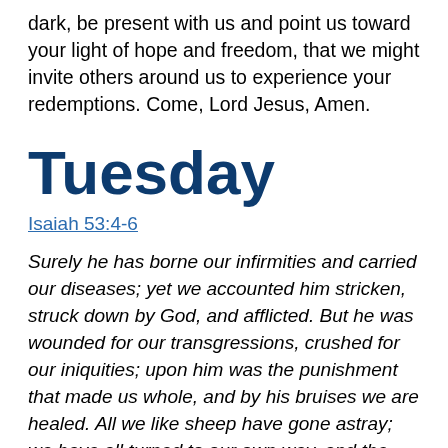dark, be present with us and point us toward your light of hope and freedom, that we might invite others around us to experience your redemptions. Come, Lord Jesus, Amen.
Tuesday
Isaiah 53:4-6
Surely he has borne our infirmities and carried our diseases; yet we accounted him stricken, struck down by God, and afflicted. But he was wounded for our transgressions, crushed for our iniquities; upon him was the punishment that made us whole, and by his bruises we are healed. All we like sheep have gone astray; we have all turned to our own way, and the Lord has laid on him the